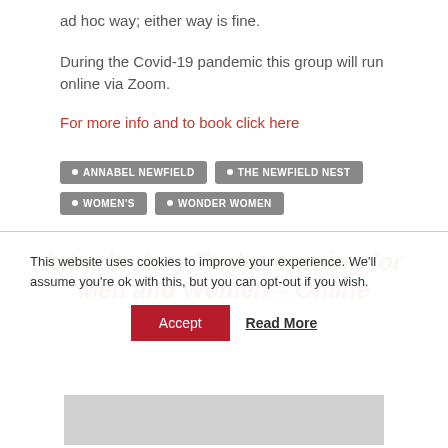ad hoc way; either way is fine.
During the Covid-19 pandemic this group will run online via Zoom.
For more info and to book click here
ANNABEL NEWFIELD
THE NEWFIELD NEST
WOMEN'S
WONDER WOMEN
Introductory Tantra evening for Men and Women – Online
This website uses cookies to improve your experience. We'll assume you're ok with this, but you can opt-out if you wish.